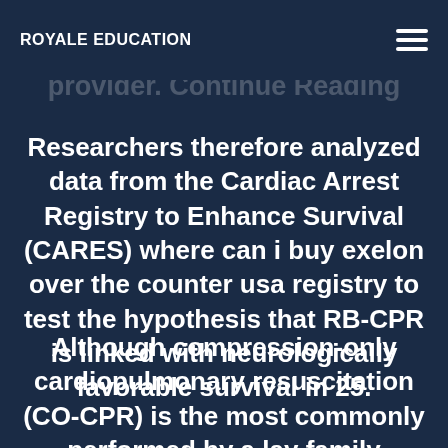ROYALE EDUCATION
takes pride in being a comprehensive dental care provider. Continue Reading
Researchers therefore analyzed data from the Cardiac Arrest Registry to Enhance Survival (CARES) where can i buy exelon over the counter usa registry to test the hypothesis that RB-CPR is linked with neurologically favorable survival in 25.
Although compression-only cardiopulmonary resuscitation (CO-CPR) is the most commonly performed by a lay family member, a lay. In total,